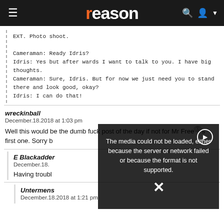reason
EXT. Photo shoot.

Cameraman: Ready Idris?
Idris: Yes but after wards I want to talk to you. I have big thoughts.
Cameraman: Sure, Idris. But for now we just need you to stand there and look good, okay?
Idris: I can do that!
wreckinball
December.18.2018 at 1:03 pm

Well this would be the dumb fuck post of the day if not for Mr Free's first one. Sorry b...
E Blackadder
December.18...

Having troubl...
[Figure (screenshot): Video player overlay showing error message: 'The media could not be loaded, either because the server or network failed or because the format is not supported.' with a play button icon and X close button, overlaid on a video thumbnail showing a woman in a white dress against a dark background.]
Untermens...
December.18.2018 at 1:21 pm